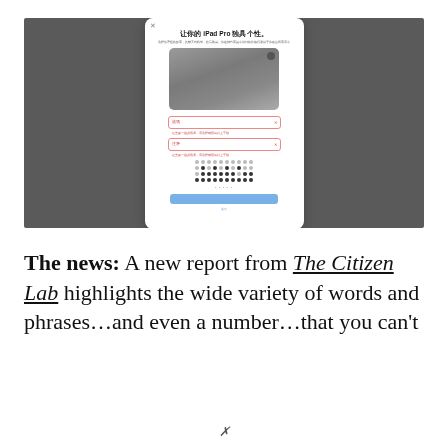[Figure (screenshot): Screenshot showing a dark grey background with a white dialog box. The dialog has a close button (x), Chinese text title '让你的 iPad Pro 独具个性。', a subtitle in smaller Chinese text, an image of a Space Grey iPad Pro, two form fields with red/pink borders and Chinese labels, a dot grid (password/passcode entry), page indicator dots, a blue button, and a smaller link below.]
The news: A new report from The Citizen Lab highlights the wide variety of words and phrases…and even a number…that you can't